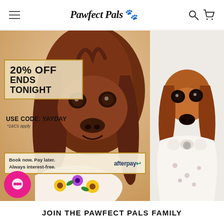Pawfect Pals 🐾
[Figure (photo): E-commerce website screenshot for 'Pawfect Pals' pet store. Left panel shows a long-haired brown dachshund puppy wearing a sunflower bandana with a 20% OFF ENDS TONIGHT promo overlay and USE CODE: YAYDAY, *1&Cs apply, an Afterpay banner, and a pink chat bubble. Right panel shows a tan/red miniature dachshund wearing a white floral bow tie bandana on a white background.]
JOIN THE PAWFECT PALS FAMILY